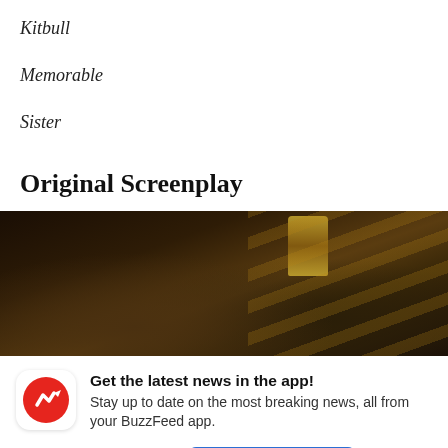Kitbull
Memorable
Sister
Original Screenplay
[Figure (photo): Two people at an awards ceremony, one holding an Oscar trophy aloft, dark background with golden streak lighting]
Get the latest news in the app! Stay up to date on the most breaking news, all from your BuzzFeed app.
Maybe later
Get the app